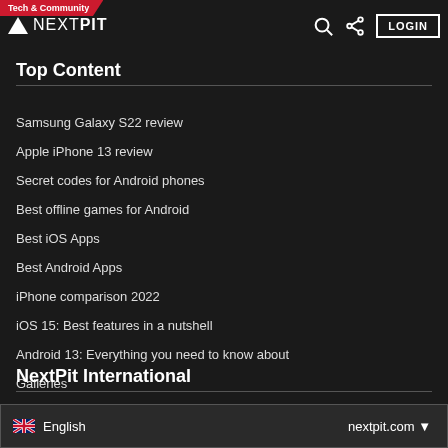Tech & Community | NEXTPIT | LOGIN
Top Content
Samsung Galaxy S22 review
Apple iPhone 13 review
Secret codes for Android phones
Best offline games for Android
Best iOS Apps
Best Android Apps
iPhone comparison 2022
iOS 15: Best features in a nutshell
Android 13: Everything you need to know about
Galleries
NextPit International
English   nextpit.com ▼